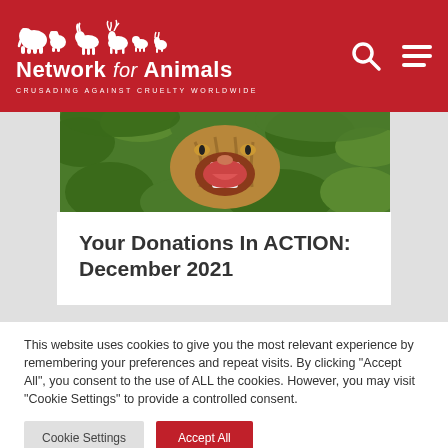[Figure (logo): Network for Animals logo with white animal silhouettes (elephant, bear, horse, deer and others) and text 'Network for Animals — Crusading Against Cruelty Worldwide' on red background with search and menu icons]
[Figure (photo): Close-up photo of a cat or wild cat with open mouth (teeth visible) surrounded by green foliage]
Your Donations In ACTION: December 2021
This website uses cookies to give you the most relevant experience by remembering your preferences and repeat visits. By clicking "Accept All", you consent to the use of ALL the cookies. However, you may visit "Cookie Settings" to provide a controlled consent.